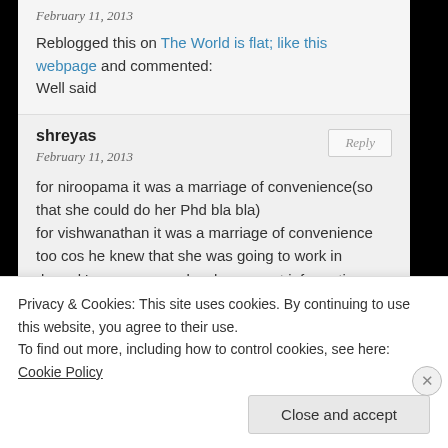February 11, 2013
Reblogged this on The World is flat; like this webpage and commented:
Well said
shreyas
Reply
February 11, 2013
for niroopama it was a marriage of convenience(so that she could do her Phd bla bla)
for vishwanathan it was a marriage of convenience too cos he knew that she was going to work in deepak's company and so he can get information through that company.
niru has doubts on vishwa and assumes he is
Privacy & Cookies: This site uses cookies. By continuing to use this website, you agree to their use.
To find out more, including how to control cookies, see here: Cookie Policy
Close and accept